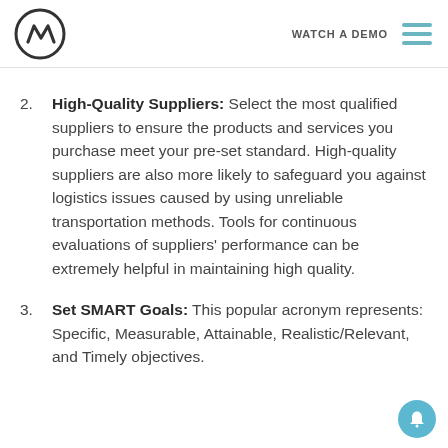WATCH A DEMO [logo] [menu]
2. High-Quality Suppliers: Select the most qualified suppliers to ensure the products and services you purchase meet your pre-set standard. High-quality suppliers are also more likely to safeguard you against logistics issues caused by using unreliable transportation methods. Tools for continuous evaluations of suppliers' performance can be extremely helpful in maintaining high quality.
3. Set SMART Goals: This popular acronym represents: Specific, Measurable, Attainable, Realistic/Relevant, and Timely objectives.